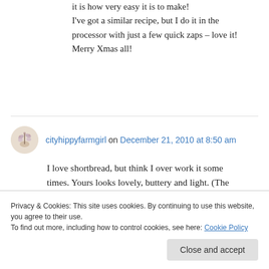it is how very easy it is to make! I've got a similar recipe, but I do it in the processor with just a few quick zaps – love it! Merry Xmas all!
cityhippyfarmgirl on December 21, 2010 at 8:50 am
I love shortbread, but think I over work it some times. Yours looks lovely, buttery and light. (The boys made gingerbread yesterday and boy was
Privacy & Cookies: This site uses cookies. By continuing to use this website, you agree to their use. To find out more, including how to control cookies, see here: Cookie Policy